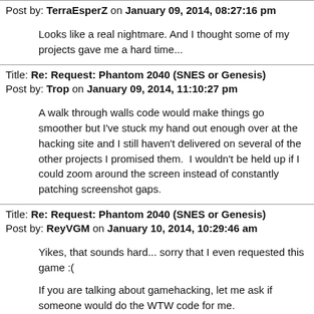Post by: TerraEsperZ on January 09, 2014, 08:27:16 pm
Looks like a real nightmare. And I thought some of my projects gave me a hard time...
Title: Re: Request: Phantom 2040 (SNES or Genesis)
Post by: Trop on January 09, 2014, 11:10:27 pm
A walk through walls code would make things go smoother but I've stuck my hand out enough over at the hacking site and I still haven't delivered on several of the other projects I promised them.  I wouldn't be held up if I could zoom around the screen instead of constantly patching screenshot gaps.
Title: Re: Request: Phantom 2040 (SNES or Genesis)
Post by: ReyVGM on January 10, 2014, 10:29:46 am
Yikes, that sounds hard... sorry that I even requested this game :(

If you are talking about gamehacking, let me ask if someone would do the WTW code for me.
Title: Re: Request: Phantom 2040 (SNES or Genesis)
Post by: Trop on January 10, 2014, 02:18:21 pm